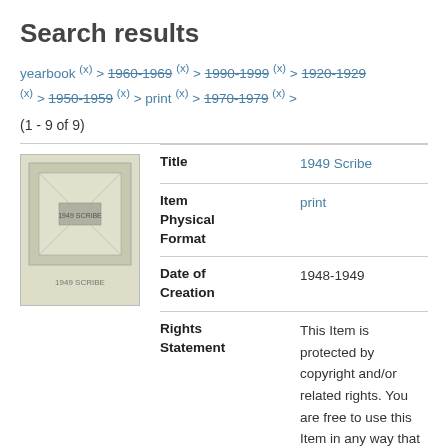Search results
yearbook (x) > 1960-1969 (x) > 1990-1999 (x) > 1920-1929 (x) > 1950-1959 (x) > print (x) > 1970-1979 (x) >
(1 - 9 of 9)
|  | Field | Value |
| --- | --- | --- |
| [image] | Title | 1949 Scribe |
|  | Item Physical Format | print |
|  | Date of Creation | 1948-1949 |
|  | Rights Statement | This Item is protected by copyright and/or related rights. You are free to use this Item in any way that is permitted by the copyright and related rights legislation that applies to your use. In addition, no permission is required from the rights-holder(s) for |